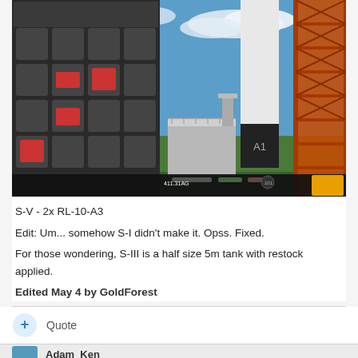[Figure (screenshot): Screenshot of a space rocket simulation game (Kerbal Space Program), showing a large rocket on a launch pad with a launch tower structure on the right, a hangar building in the background left, and a parts panel on the far left. The scene has a blue sky with clouds.]
S-V - 2x RL-10-A3
Edit: Um... somehow S-I didn't make it. Opss. Fixed.
For those wondering, S-III is a half size 5m tank with restock applied.
Edited May 4 by GoldForest